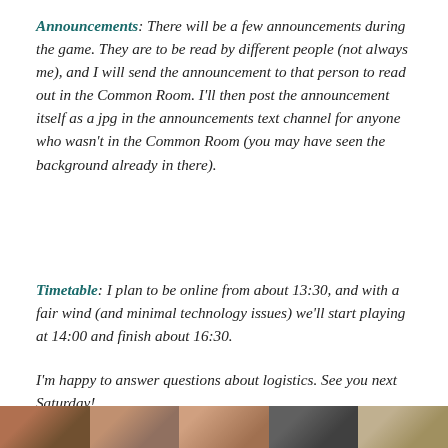Announcements: There will be a few announcements during the game. They are to be read by different people (not always me), and I will send the announcement to that person to read out in the Common Room. I'll then post the announcement itself as a jpg in the announcements text channel for anyone who wasn't in the Common Room (you may have seen the background already in there).
Timetable: I plan to be online from about 13:30, and with a fair wind (and minimal technology issues) we'll start playing at 14:00 and finish about 16:30.
I'm happy to answer questions about logistics. See you next Saturday!
[Figure (photo): A strip of photos showing people, partially visible at the bottom of the page.]